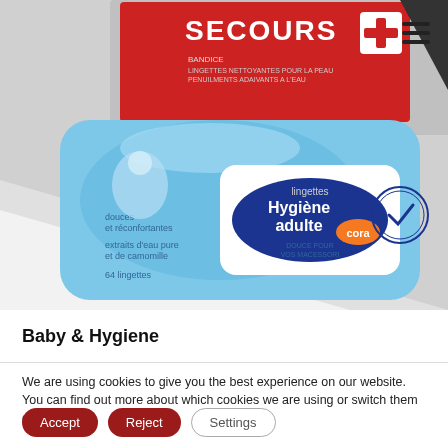[Figure (photo): Product photo showing a blue package of 'Cora lingettes Hygiène adulte' (adult hygiene wipes, 64 wipes) in the foreground, with a red 'Secours' first aid kit package partially visible in the background. The image occupies the upper portion of the page.]
Baby & Hygiene
We are using cookies to give you the best experience on our website.
You can find out more about which cookies we are using or switch them off in settings.
Accept
Reject
Settings